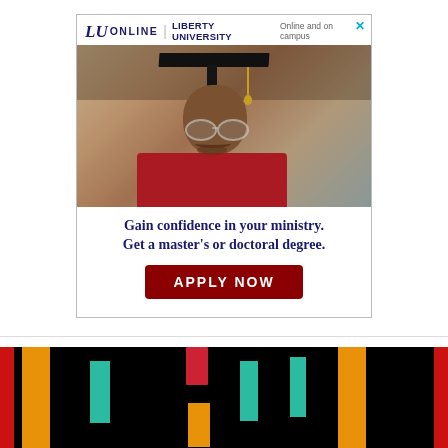[Figure (illustration): Liberty University Online advertisement showing a smiling male graduate wearing cap and gown with text 'Gain confidence in your ministry. Get a master's or doctoral degree.' and an 'APPLY NOW' button in dark red.]
[Figure (photo): Close-up image of colorful kente cloth fabric with vertical stripes of orange/gold, teal/green, red, and yellow on a black background.]